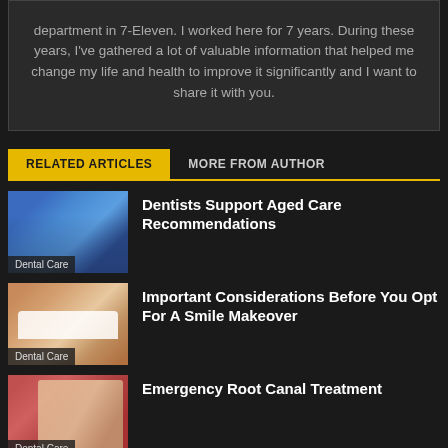department in 7-Eleven. I worked here for 7 years. During these years, I've gathered a lot of valuable information that helped me change my life and health to improve it significantly and I want to share it with you.
RELATED ARTICLES   MORE FROM AUTHOR
[Figure (photo): Dentist in blue scrubs and mask working on a patient]
Dentists Support Aged Care Recommendations
Dental Care
[Figure (photo): Woman with a bright white smile showing teeth]
Important Considerations Before You Opt For A Smile Makeover
Dental Care
[Figure (photo): Close-up of dental root canal procedure with tools]
Emergency Root Canal Treatment
Dental Care